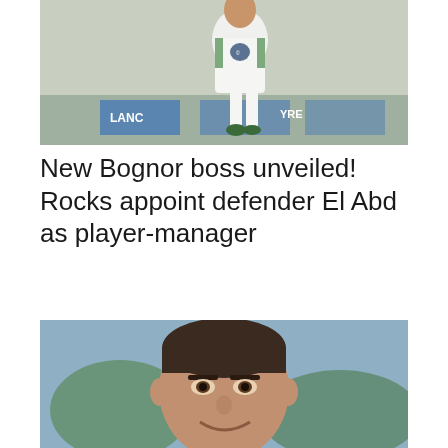[Figure (photo): A footballer in a white and green kit running on a pitch, with advertising hoardings in the background.]
New Bognor boss unveiled! Rocks appoint defender El Abd as player-manager
[Figure (photo): Close-up portrait of a man with dark hair smiling, outdoors with green trees and blue sky in the background.]